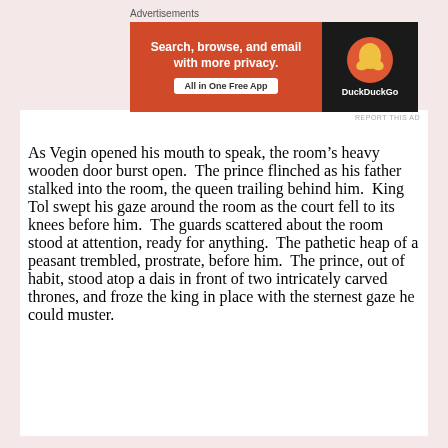Advertisements
[Figure (other): DuckDuckGo advertisement banner: orange left panel with text 'Search, browse, and email with more privacy.' and button 'All in One Free App'; black right panel with DuckDuckGo logo and name. 'REPORT THIS AD' link below.]
As Vegin opened his mouth to speak, the room’s heavy wooden door burst open.  The prince flinched as his father stalked into the room, the queen trailing behind him.  King Tol swept his gaze around the room as the court fell to its knees before him.  The guards scattered about the room stood at attention, ready for anything.  The pathetic heap of a peasant trembled, prostrate, before him.  The prince, out of habit, stood atop a dais in front of two intricately carved thrones, and froze the king in place with the sternest gaze he could muster.